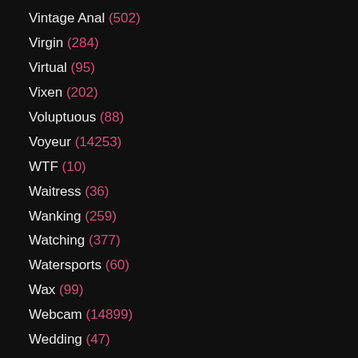Vintage Anal (502)
Virgin (284)
Virtual (95)
Vixen (202)
Voluptuous (88)
Voyeur (14253)
WTF (10)
Waitress (36)
Wanking (259)
Watching (377)
Watersports (60)
Wax (99)
Webcam (14899)
Wedding (47)
Weird (120)
Wet (1776)